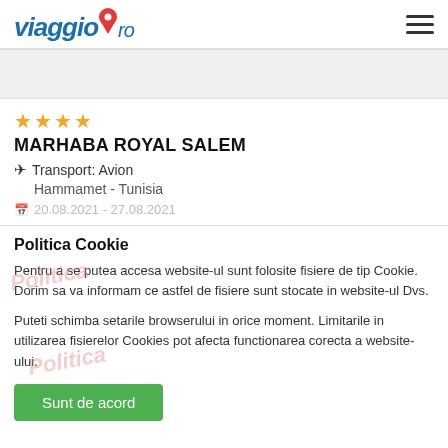viaggio.ro
[Figure (screenshot): Gray band content area placeholder]
★★★★
MARHABA ROYAL SALEM
✈ Transport: Avion
Hammamet - Tunisia
20.08.2021 - 27.08.2021
Politica Cookie
Pentru a se putea accesa website-ul sunt folosite fisiere de tip Cookie. Dorim sa va informam ce astfel de fisiere sunt stocate in website-ul Dvs.
Puteti schimba setarile browserului in orice moment. Limitarile in utilizarea fisierelor Cookies pot afecta functionarea corecta a website-ului.
Sunt de acord